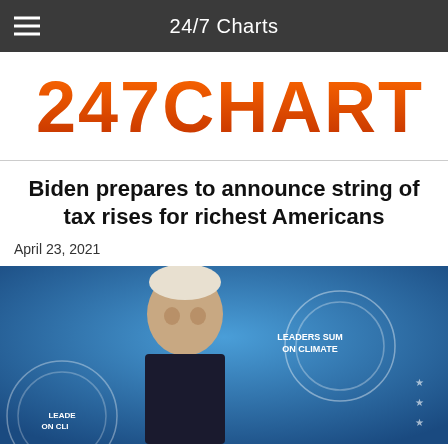24/7 Charts
[Figure (logo): 247CHARTS logo in orange/red blocky font on white background]
Biden prepares to announce string of tax rises for richest Americans
April 23, 2021
[Figure (photo): President Biden at a podium with 'Leaders Summit on Climate' signage in the background, blue lighting]